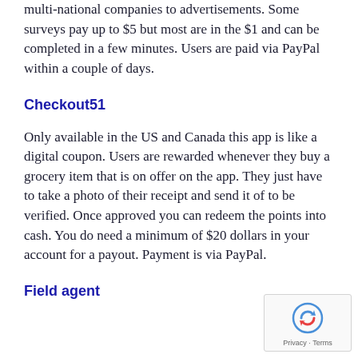multi-national companies to advertisements. Some surveys pay up to $5 but most are in the $1 and can be completed in a few minutes. Users are paid via PayPal within a couple of days.
Checkout51
Only available in the US and Canada this app is like a digital coupon. Users are rewarded whenever they buy a grocery item that is on offer on the app. They just have to take a photo of their receipt and send it of to be verified. Once approved you can redeem the points into cash. You do need a minimum of $20 dollars in your account for a payout. Payment is via PayPal.
Field agent